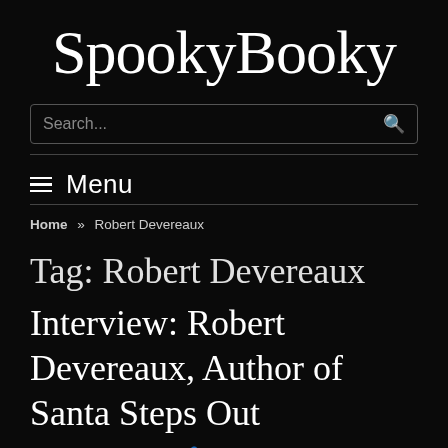SpookyBooky
[Figure (other): Search bar with placeholder text 'Search...' and a magnifying glass icon]
≡ Menu
Home » Robert Devereaux
Tag: Robert Devereaux
Interview: Robert Devereaux, Author of Santa Steps Out
© NOVEMBER 27, 2021  👤 JUSTIN TATE